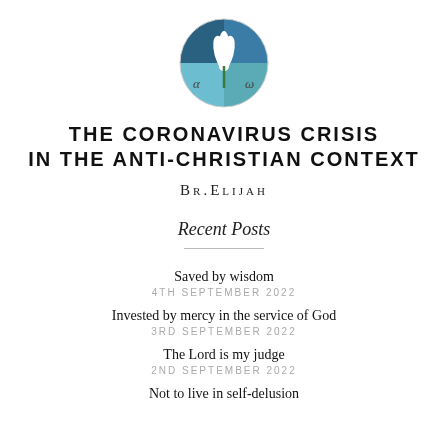[Figure (logo): Circular logo with Alpha and Omega symbols, white lily/flower design on blue and teal background]
THE CORONAVIRUS CRISIS IN THE ANTI-CHRISTIAN CONTEXT
BR. ELIJAH
Recent Posts
Saved by wisdom
4TH SEPTEMBER 2022
Invested by mercy in the service of God
3RD SEPTEMBER 2022
The Lord is my judge
2ND SEPTEMBER 2022
Not to live in self-delusion